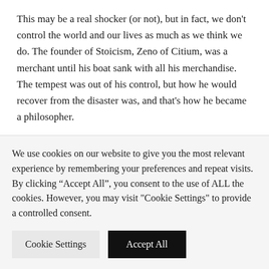This may be a real shocker (or not), but in fact, we don't control the world and our lives as much as we think we do. The founder of Stoicism, Zeno of Citium, was a merchant until his boat sank with all his merchandise. The tempest was out of his control, but how he would recover from the disaster was, and that's how he became a philosopher.
In the workplace, we can influence certain things such as our reputation, our presence, and
We use cookies on our website to give you the most relevant experience by remembering your preferences and repeat visits. By clicking "Accept All", you consent to the use of ALL the cookies. However, you may visit "Cookie Settings" to provide a controlled consent.